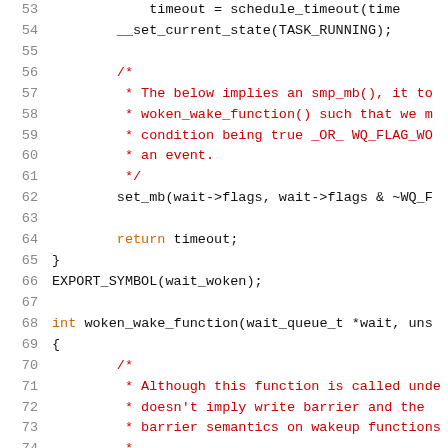[Figure (screenshot): Source code snippet showing C kernel code lines 53-74, with line numbers in gray, keywords in orange, and comments in red/dark-red on white background.]